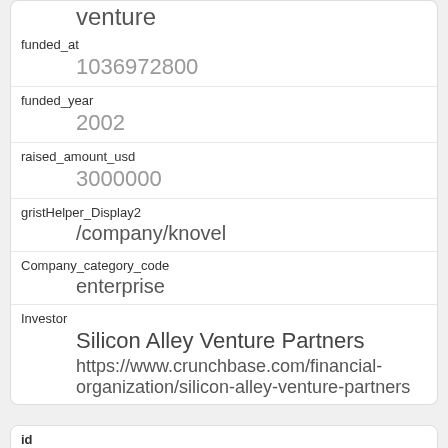venture
funded_at
1036972800
funded_year
2002
raised_amount_usd
3000000
gristHelper_Display2
/company/knovel
Company_category_code
enterprise
Investor
Silicon Alley Venture Partners
https://www.crunchbase.com/financial-organization/silicon-alley-venture-partners
id
3738
manualSort
3738
Company